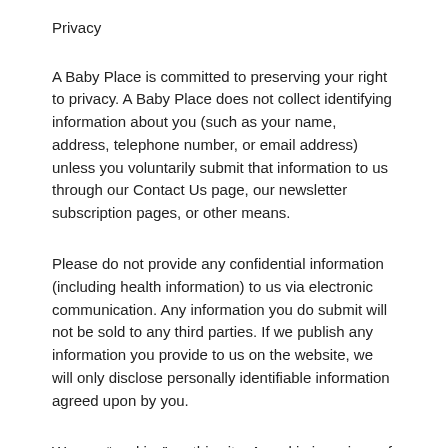Privacy
A Baby Place is committed to preserving your right to privacy. A Baby Place does not collect identifying information about you (such as your name, address, telephone number, or email address) unless you voluntarily submit that information to us through our Contact Us page, our newsletter subscription pages, or other means.
Please do not provide any confidential information (including health information) to us via electronic communication. Any information you do submit will not be sold to any third parties. If we publish any information you provide to us on the website, we will only disclose personally identifiable information agreed upon by you.
We use “cookies” on this site. A cookie is a piece of data stored on a site visitor’s hard drive to help us improve...